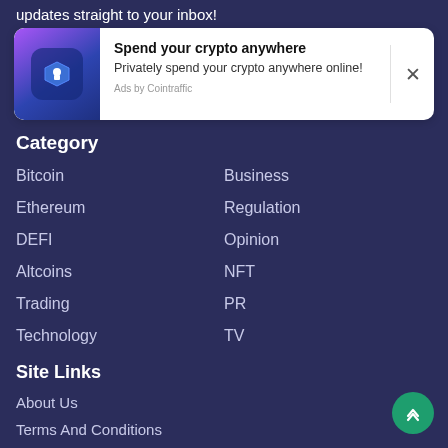updates straight to your inbox!
[Figure (other): Advertisement card: Spend your crypto anywhere. Privately spend your crypto anywhere online! Ads by Cointraffic]
Category
Bitcoin
Business
Ethereum
Regulation
DEFI
Opinion
Altcoins
NFT
Trading
PR
Technology
TV
Site Links
About Us
Terms And Conditions
Media Patrons